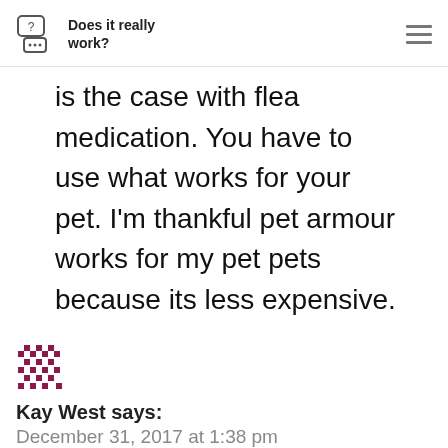Does it really work?
is the case with flea medication. You have to use what works for your pet. I'm thankful pet armour works for my pet pets because its less expensive.
Kay West says:
December 31, 2017 at 1:38 pm
It appears you are in error about the cost. You said it cost around